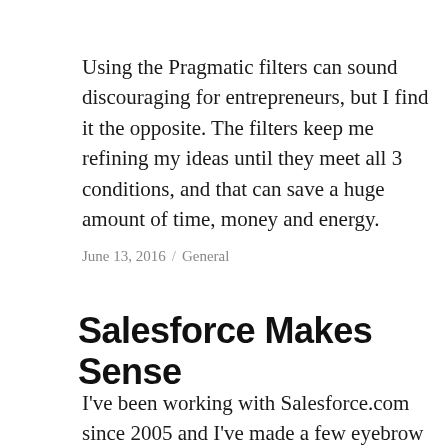Using the Pragmatic filters can sound discouraging for entrepreneurs, but I find it the opposite. The filters keep me refining my ideas until they meet all 3 conditions, and that can save a huge amount of time, money and energy.
June 13, 2016 / General
Salesforce Makes Sense
I've been working with Salesforce.com since 2005 and I've made a few eyebrow raising comparisons over the years…